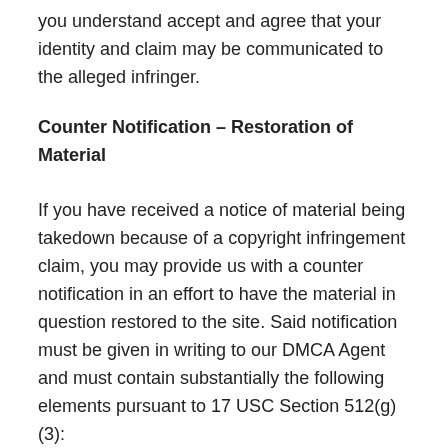you understand accept and agree that your identity and claim may be communicated to the alleged infringer.
Counter Notification – Restoration of Material
If you have received a notice of material being takedown because of a copyright infringement claim, you may provide us with a counter notification in an effort to have the material in question restored to the site. Said notification must be given in writing to our DMCA Agent and must contain substantially the following elements pursuant to 17 USC Section 512(g)(3):
1. Your physical or electronic signature.
2. A description of the material that has been taken